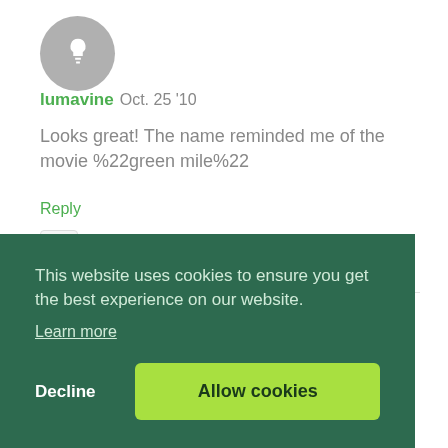[Figure (illustration): Gray circular avatar with white lightbulb icon]
lumavine Oct. 25 '10
Looks great! The name reminded me of the movie %22green mile%22
Reply
[Figure (illustration): Flag/report icon button]
[Figure (illustration): Second comment avatar, partial, brown/dark red circular]
This website uses cookies to ensure you get the best experience on our website. Learn more
Decline
Allow cookies